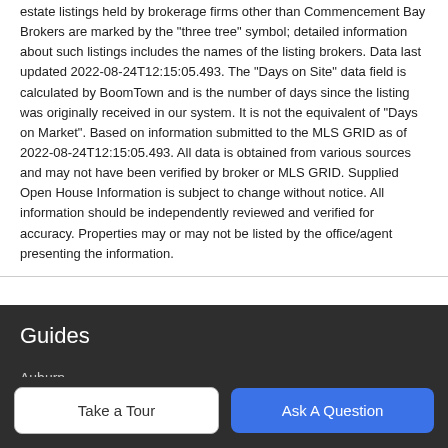estate listings held by brokerage firms other than Commencement Bay Brokers are marked by the "three tree" symbol; detailed information about such listings includes the names of the listing brokers. Data last updated 2022-08-24T12:15:05.493. The "Days on Site" data field is calculated by BoomTown and is the number of days since the listing was originally received in our system. It is not the equivalent of "Days on Market". Based on information submitted to the MLS GRID as of 2022-08-24T12:15:05.493. All data is obtained from various sources and may not have been verified by broker or MLS GRID. Supplied Open House Information is subject to change without notice. All information should be independently reviewed and verified for accuracy. Properties may or may not be listed by the office/agent presenting the information.
Guides
Auburn
Proctor District
Take a Tour
Ask A Question